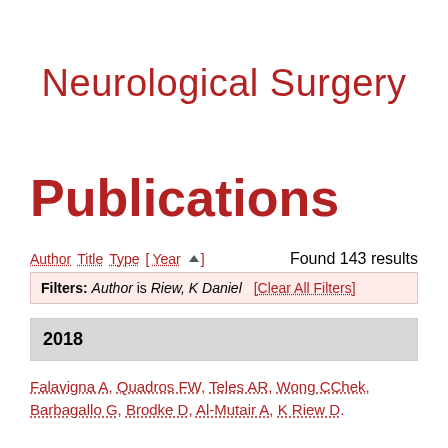Neurological Surgery
Publications
Author Title Type [ Year ▲ ]   Found 143 results
Filters: Author is Riew, K Daniel [Clear All Filters]
2018
Falavigna A, Quadros FW, Teles AR, Wong CChek, Barbagallo G, Brodke D, Al-Mutair A, K Riew D.